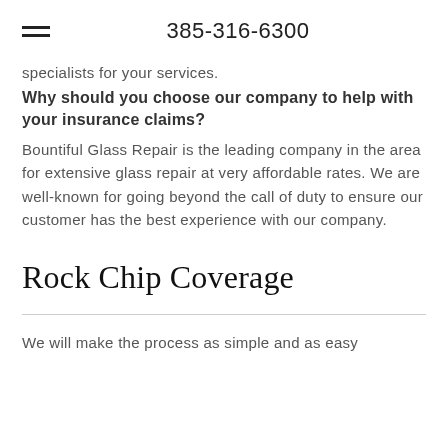385-316-6300
specialists for your services.
Why should you choose our company to help with your insurance claims?
Bountiful Glass Repair is the leading company in the area for extensive glass repair at very affordable rates. We are well-known for going beyond the call of duty to ensure our customer has the best experience with our company.
Rock Chip Coverage
We will make the process as simple and as easy